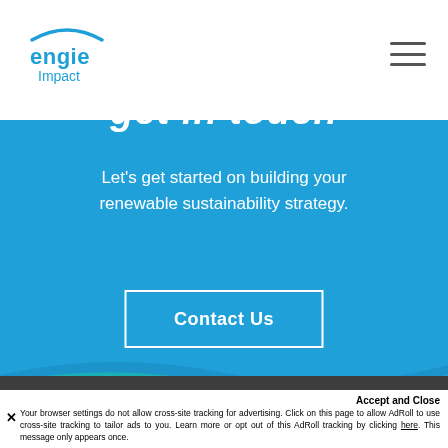ENGIE Impact
get in touch
Let's get started on building your renewable sustainability strategy.
Contact Us
Accept and Close
Your browser settings do not allow cross-site tracking for advertising. Click on this page to allow AdRoll to use cross-site tracking to tailor ads to you. Learn more or opt out of this AdRoll tracking by clicking here. This message only appears once.